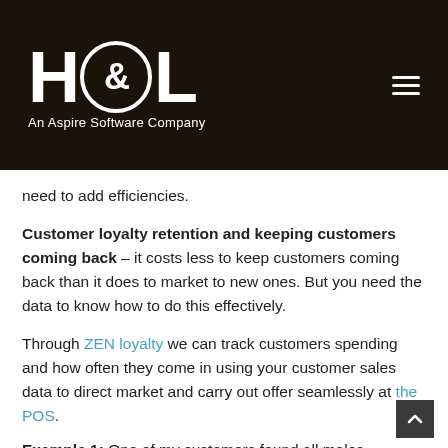H&L – An Aspire Software Company
need to add efficiencies.
Customer loyalty retention and keeping customers coming back – it costs less to keep customers coming back than it does to market to new ones. But you need the data to know how to do this effectively.
Through ZEN loyalty we can track customers spending and how often they come in using your customer sales data to direct market and carry out offer seamlessly at the POS.
Example 1: One of my customers found all males